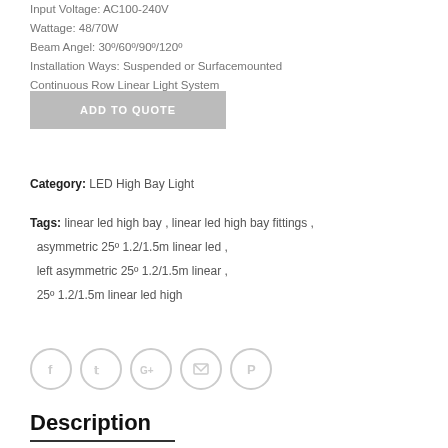Input Voltage: AC100-240V
Wattage: 48/70W
Beam Angel: 30°/60°/90°/120°
Installation Ways: Suspended or Surfacemounted
Continuous Row Linear Light System
Quality Warranty: 7 Years
ADD TO QUOTE
Category: LED High Bay Light
Tags: linear led high bay , linear led high bay fittings , asymmetric 25° 1.2/1.5m linear led , left asymmetric 25° 1.2/1.5m linear , 25° 1.2/1.5m linear led high
[Figure (other): Social share icons: Facebook, Twitter, Google+, Email, Pinterest]
Description